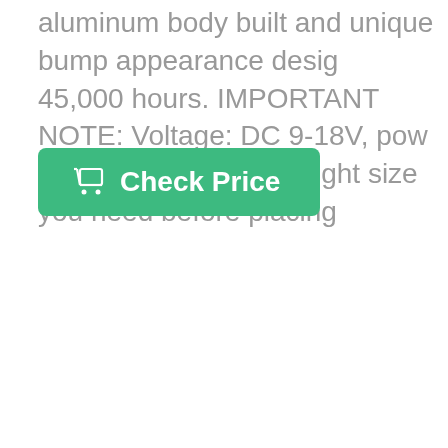aluminum body built and unique bump appearance desig... 45,000 hours. IMPORTANT NOTE: Voltage: DC 9-18V, pow... to confirm the correct light size you need before placing...
Check Price